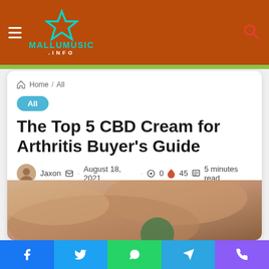MALLUMUSIC .INFO
Home / All
All
The Top 5 CBD Cream for Arthritis Buyer's Guide
Jaxon · August 18, 2021 · 0 · 45 · 5 minutes read
[Figure (photo): Person applying cream to wrist/hand area]
Facebook · Twitter · WhatsApp · Telegram · Phone